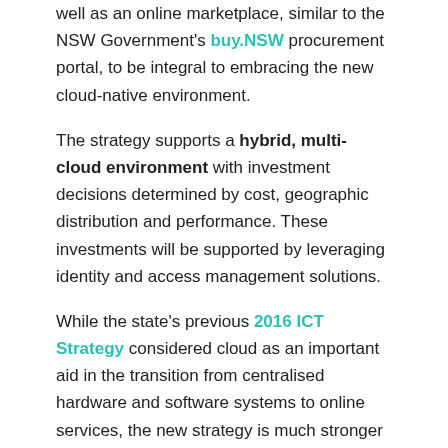well as an online marketplace, similar to the NSW Government's buy.NSW procurement portal, to be integral to embracing the new cloud-native environment.
The strategy supports a hybrid, multi-cloud environment with investment decisions determined by cost, geographic distribution and performance. These investments will be supported by leveraging identity and access management solutions.
While the state's previous 2016 ICT Strategy considered cloud as an important aid in the transition from centralised hardware and software systems to online services, the new strategy is much stronger in urging agencies to embrace cloud-native techniques.
The government is currently running a proof of